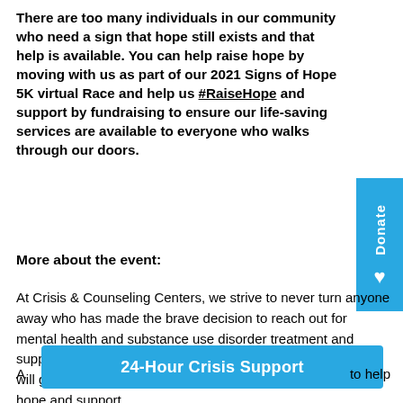There are too many individuals in our community who need a sign that hope still exists and that help is available. You can help raise hope by moving with us as part of our 2021 Signs of Hope 5K virtual Race and help us #RaiseHope and support by fundraising to ensure our life-saving services are available to everyone who walks through our doors.
More about the event:
At Crisis & Counseling Centers, we strive to never turn anyone away who has made the brave decision to reach out for mental health and substance use disorder treatment and support. With your help, we can guarantee that our neighbors will get the care they need, when they need it most by raising hope and support.
[Figure (other): Blue Donate button on the right side with vertical text 'Donate' and a heart icon]
24-Hour Crisis Support